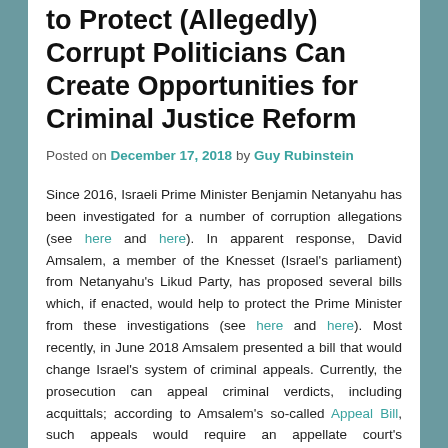to Protect (Allegedly) Corrupt Politicians Can Create Opportunities for Criminal Justice Reform
Posted on December 17, 2018 by Guy Rubinstein
Since 2016, Israeli Prime Minister Benjamin Netanyahu has been investigated for a number of corruption allegations (see here and here). In apparent response, David Amsalem, a member of the Knesset (Israel's parliament) from Netanyahu's Likud Party, has proposed several bills which, if enacted, would help to protect the Prime Minister from these investigations (see here and here). Most recently, in June 2018 Amsalem presented a bill that would change Israel's system of criminal appeals. Currently, the prosecution can appeal criminal verdicts, including acquittals; according to Amsalem's so-called Appeal Bill, such appeals would require an appellate court's permission, and this permission could only be